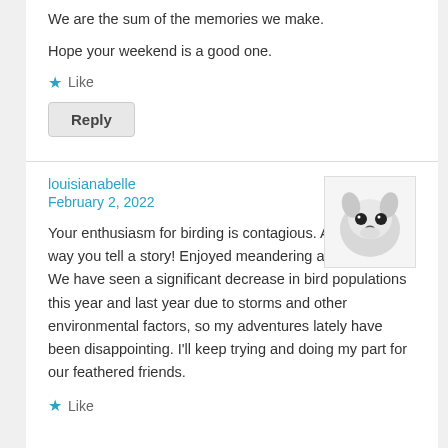We are the sum of the memories we make.
Hope your weekend is a good one.
Like
Reply
louisianabelle
February 2, 2022
[Figure (photo): Black and white photo of a small dog or animal face close-up]
Your enthusiasm for birding is contagious. And I love the way you tell a story! Enjoyed meandering along with you. We have seen a significant decrease in bird populations this year and last year due to storms and other environmental factors, so my adventures lately have been disappointing. I'll keep trying and doing my part for our feathered friends.
Like